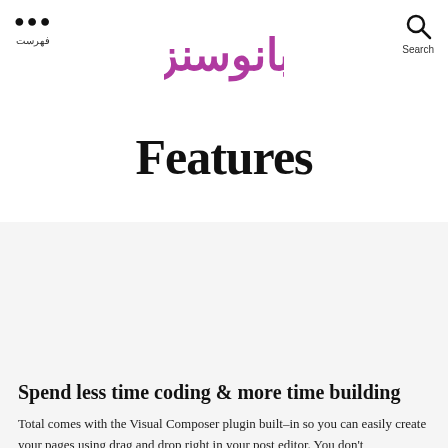بانوسنز | فهرست | Search
[Figure (logo): BanoSanar Arabic/Persian stylized logo in purple and pink colors]
Features
Spend less time coding & more time building
Total comes with the Visual Composer plugin built–in so you can easily create your pages using drag and drop right in your post editor. You don't